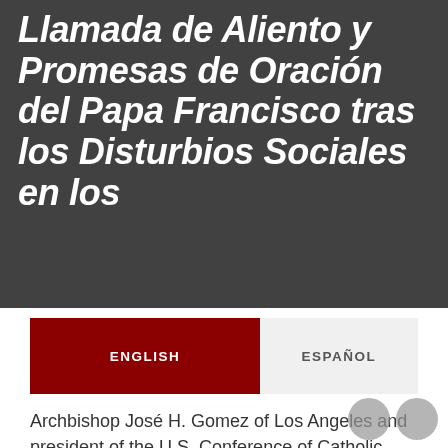Llamada de Aliento y Promesas de Oración del Papa Francisco tras los Disturbios Sociales en los
ENGLISH
ESPAÑOL
Archbishop José H. Gomez of Los Angeles and president of the U.S. Conference of Catholic Bishops received a call from Pope Francis on June 3, where the Holy Father expressed his prayers and closeness to the Church and the people of the United States in this moment of unrest.